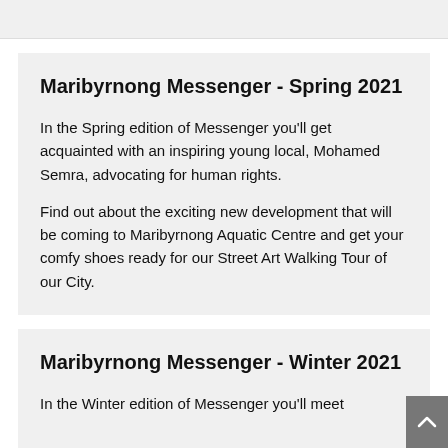Maribyrnong Messenger - Spring 2021
In the Spring edition of Messenger you'll get acquainted with an inspiring young local, Mohamed Semra, advocating for human rights.
Find out about the exciting new development that will be coming to Maribyrnong Aquatic Centre and get your comfy shoes ready for our Street Art Walking Tour of our City.
Maribyrnong Messenger - Winter 2021
In the Winter edition of Messenger you'll meet